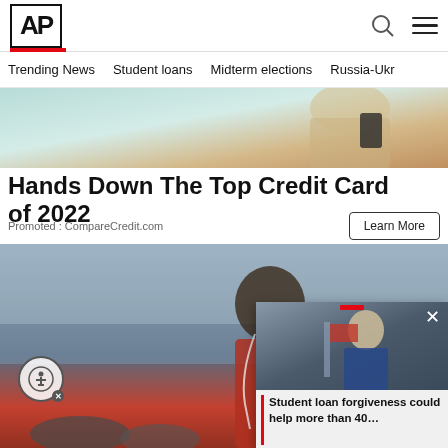[Figure (logo): AP (Associated Press) logo in black bold text with red underline bar]
Trending News   Student loans   Midterm elections   Russia-Ukr
[Figure (photo): Person holding a smartphone against teal/blue background - top ad image]
Hands Down The Top Credit Card of 2022
Promoted : CompareCredit.com
Learn More
[Figure (photo): Man with curly hair wearing red hoodie and earphones, looking down, near waterfront with rocks]
[Figure (photo): Video overlay thumbnail showing a political figure/speaker at podium with American flag]
Student loan forgiveness could help more than 40...